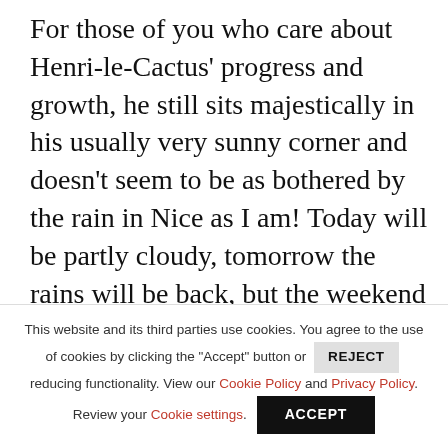For those of you who care about Henri-le-Cactus' progress and growth, he still sits majestically in his usually very sunny corner and doesn't seem to be as bothered by the rain in Nice as I am! Today will be partly cloudy, tomorrow the rains will be back, but the weekend looks bright and sunny. I certainly hope so!
Meanwhile, I am missing the winter wonderland in Paris, and it's been raining
This website and its third parties use cookies. You agree to the use of cookies by clicking the "Accept" button or REJECT reducing functionality. View our Cookie Policy and Privacy Policy. Review your Cookie settings. ACCEPT